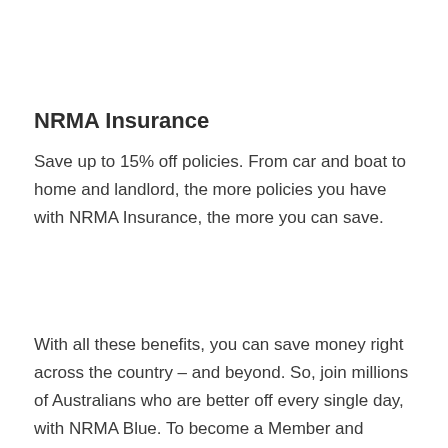NRMA Insurance
Save up to 15% off policies. From car and boat to home and landlord, the more policies you have with NRMA Insurance, the more you can save.
With all these benefits, you can save money right across the country – and beyond. So, join millions of Australians who are better off every single day, with NRMA Blue. To become a Member and access all your benefits right away, join NRMA Blue today.